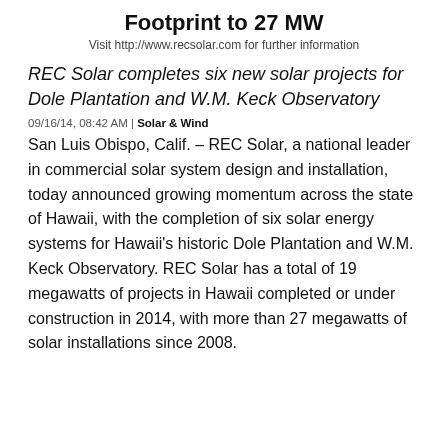Footprint to 27 MW
Visit http://www.recsolar.com for further information
REC Solar completes six new solar projects for Dole Plantation and W.M. Keck Observatory
09/16/14, 08:42 AM | Solar & Wind
San Luis Obispo, Calif. – REC Solar, a national leader in commercial solar system design and installation, today announced growing momentum across the state of Hawaii, with the completion of six solar energy systems for Hawaii's historic Dole Plantation and W.M. Keck Observatory. REC Solar has a total of 19 megawatts of projects in Hawaii completed or under construction in 2014, with more than 27 megawatts of solar installations since 2008.